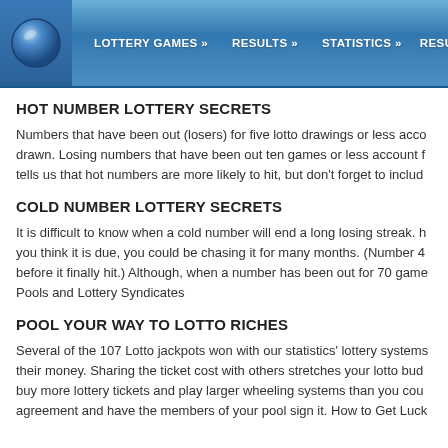LOTTERY GAMES »    RESULTS »    STATISTICS »    RESULTS
HOT NUMBER LOTTERY SECRETS
Numbers that have been out (losers) for five lotto drawings or less acco drawn. Losing numbers that have been out ten games or less account f tells us that hot numbers are more likely to hit, but don't forget to includ
COLD NUMBER LOTTERY SECRETS
It is difficult to know when a cold number will end a long losing streak. h you think it is due, you could be chasing it for many months. (Number 4 before it finally hit.) Although, when a number has been out for 70 game Pools and Lottery Syndicates
POOL YOUR WAY TO LOTTO RICHES
Several of the 107 Lotto jackpots won with our statistics' lottery systems their money. Sharing the ticket cost with others stretches your lotto bud buy more lottery tickets and play larger wheeling systems than you cou agreement and have the members of your pool sign it. How to Get Luck